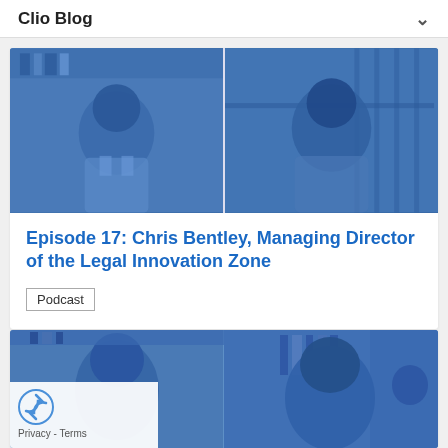Clio Blog
[Figure (photo): Split image showing two men in a video call or interview setting, rendered with a blue tint. Left half shows a man with bookshelves behind him, right half shows another man.]
Episode 17: Chris Bentley, Managing Director of the Legal Innovation Zone
Podcast
[Figure (photo): Second blog card image showing two men, one with a bookshelf behind him, rendered with a blue tint. A reCAPTCHA widget is overlaid in the bottom left corner.]